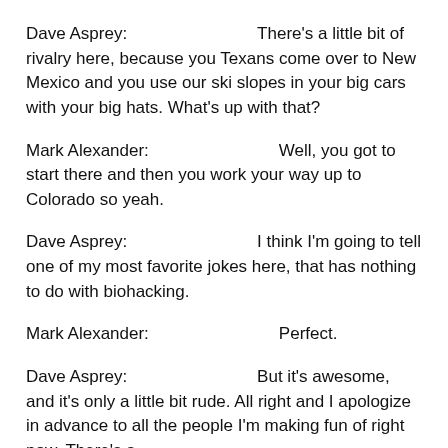Dave Asprey:    There's a little bit of rivalry here, because you Texans come over to New Mexico and you use our ski slopes in your big cars with your big hats. What's up with that?
Mark Alexander:    Well, you got to start there and then you work your way up to Colorado so yeah.
Dave Asprey:    I think I'm going to tell one of my most favorite jokes here, that has nothing to do with biohacking.
Mark Alexander:    Perfect.
Dave Asprey:    But it's awesome, and it's only a little bit rude. All right and I apologize in advance to all the people I'm making fun of right now. There's a